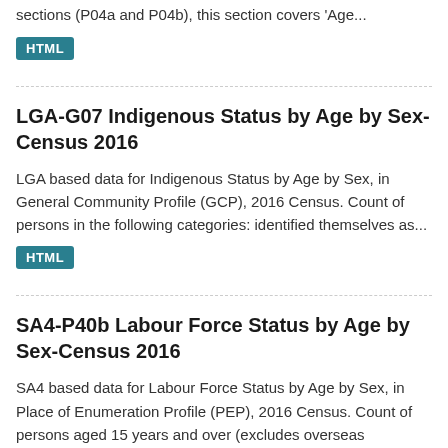sections (P04a and P04b), this section covers 'Age...
HTML
LGA-G07 Indigenous Status by Age by Sex-Census 2016
LGA based data for Indigenous Status by Age by Sex, in General Community Profile (GCP), 2016 Census. Count of persons in the following categories: identified themselves as...
HTML
SA4-P40b Labour Force Status by Age by Sex-Census 2016
SA4 based data for Labour Force Status by Age by Sex, in Place of Enumeration Profile (PEP), 2016 Census. Count of persons aged 15 years and over (excludes overseas visitors)....
HTML